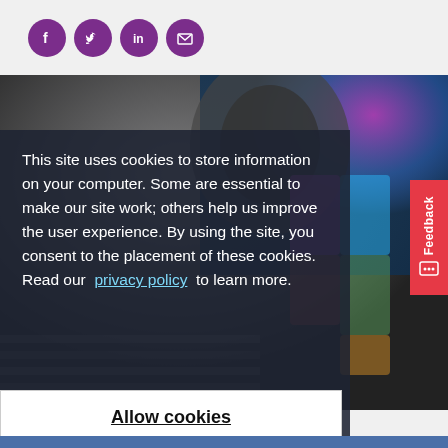[Figure (illustration): Social media share icons: Facebook, Twitter, LinkedIn, Email — all in purple circles]
[Figure (photo): Background photo of a person with colorful face paint/overlay, partially visible]
This site uses cookies to store information on your computer. Some are essential to make our site work; others help us improve the user experience. By using the site, you consent to the placement of these cookies. Read our privacy policy to learn more.
Allow cookies
[Figure (other): Red vertical Feedback tab on the right edge with a smiley icon]
[Figure (other): Grey X close button circle and purple chat bubble button]